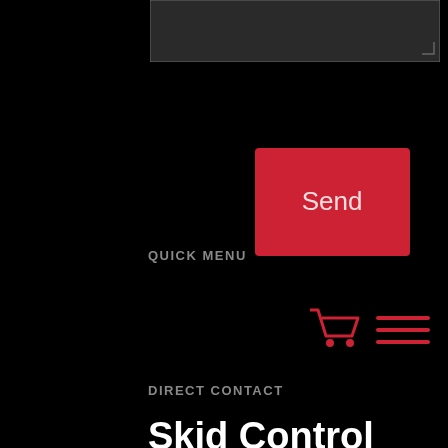[Figure (screenshot): Dark textarea input field with gray border, partially visible at top of page]
[Figure (screenshot): Red 'Send' button centered on black background]
QUICK MENU
[Figure (screenshot): Red shopping cart icon and red hamburger menu icon on black background]
DIRECT CONTACT
Skid Control